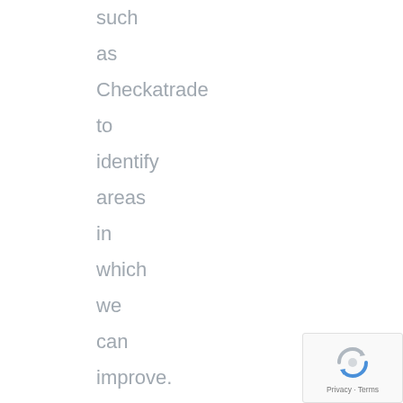such as Checkatrade to identify areas in which we can improve. Our Checkatrade rating speaks for itself. We
[Figure (logo): reCAPTCHA badge with Privacy and Terms text]